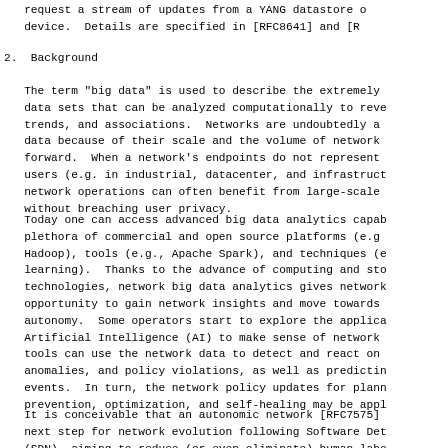request a stream of updates from a YANG datastore o
   device.  Details are specified in [RFC8641] and [R
2.  Background
The term "big data" is used to describe the extremely
data sets that can be analyzed computationally to reve
trends, and associations.  Networks are undoubtedly a
data because of their scale and the volume of network
forward.  When a network's endpoints do not represent
users (e.g. in industrial, datacenter, and infrastruct
network operations can often benefit from large-scale
without breaching user privacy.
Today one can access advanced big data analytics capab
plethora of commercial and open source platforms (e.g
Hadoop), tools (e.g., Apache Spark), and techniques (e
learning).  Thanks to the advance of computing and sto
technologies, network big data analytics gives network
opportunity to gain network insights and move towards
autonomy.  Some operators start to explore the applica
Artificial Intelligence (AI) to make sense of network
tools can use the network data to detect and react on
anomalies, and policy violations, as well as predictin
events.  In turn, the network policy updates for plann
prevention, optimization, and self-healing may be appl
It is conceivable that an autonomic network [RFC7575]
next step for network evolution following Software Det
(SDN), aiming to reduce (or even eliminate) human labo